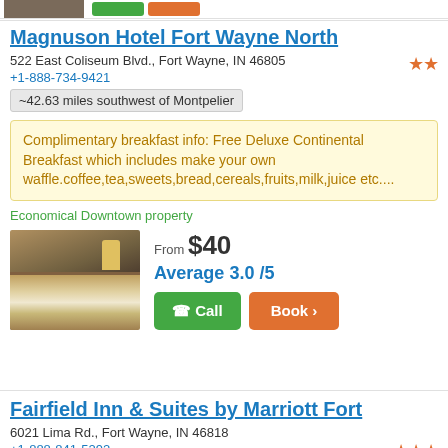[Figure (photo): Top strip with hotel room photo thumbnail, green call button, orange book button]
Magnuson Hotel Fort Wayne North
522 East Coliseum Blvd., Fort Wayne, IN 46805
+1-888-734-9421
~42.63 miles southwest of Montpelier
Complimentary breakfast info: Free Deluxe Continental Breakfast which includes make your own waffle.coffee,tea,sweets,bread,cereals,fruits,milk,juice etc....
Economical Downtown property
From $40
Average 3.0 /5
Fairfield Inn & Suites by Marriott Fort
6021 Lima Rd., Fort Wayne, IN 46818
+1-888-841-5292